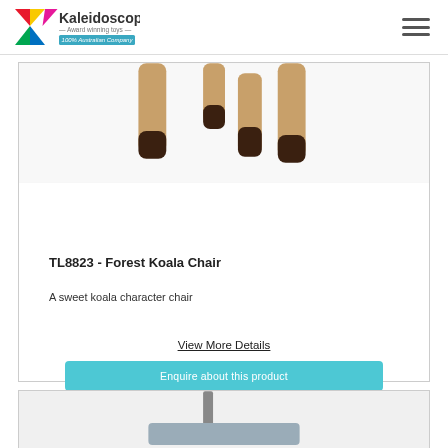Kaleidoscope - Award winning toys - 100% Australian Company
[Figure (photo): Close-up of chair legs with dark wood tips on a white background]
TL8823 - Forest Koala Chair
A sweet koala character chair
View More Details
Enquire about this product
[Figure (photo): Partial view of a grey children's product on white background]